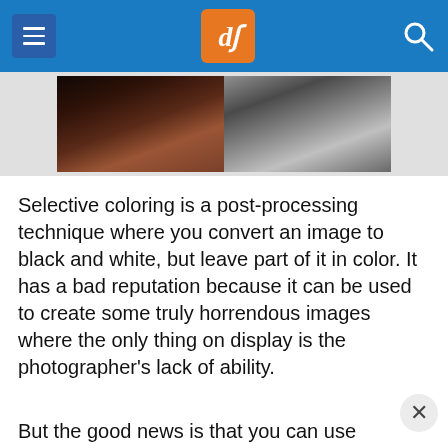dPS
[Figure (photo): Split image: left half shows a color photograph of a hand against a dark background, right half shows a black and white version of a similar texture/background]
Selective coloring is a post-processing technique where you convert an image to black and white, but leave part of it in color. It has a bad reputation because it can be used to create some truly horrendous images where the only thing on display is the photographer’s lack of ability.
But the good news is that you can use selective